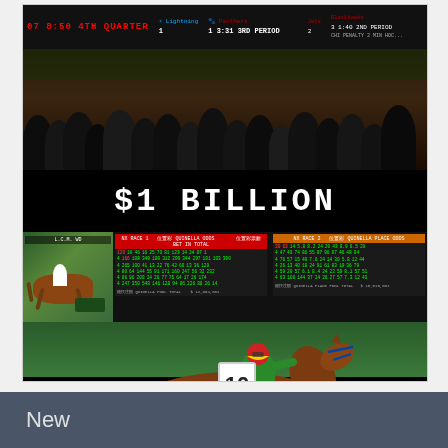[Figure (photo): Composite image with three sections: top — a sports betting venue with electronic scoreboards showing game scores (Lightning vs Panthers, Jets vs Blackhawks) and a crowd of people in front of betting windows; middle — a dark overlay displaying '$1 BILLION' in large white monospace text; lower middle — Hong Kong horse racing tote board showing Quinella and Quinella Place odds for two races with Chinese characters; bottom — a jockey in green and white silks riding horse #10 on a green turf racetrack.]
New